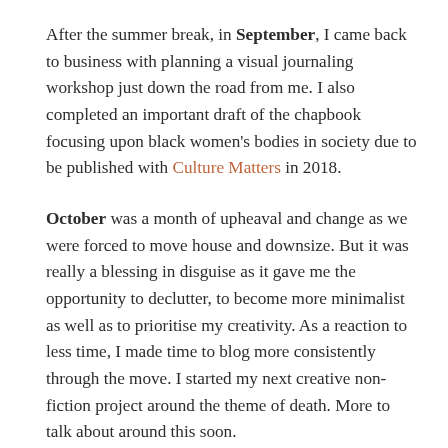After the summer break, in September, I came back to business with planning a visual journaling workshop just down the road from me. I also completed an important draft of the chapbook focusing upon black women's bodies in society due to be published with Culture Matters in 2018.
October was a month of upheaval and change as we were forced to move house and downsize. But it was really a blessing in disguise as it gave me the opportunity to declutter, to become more minimalist as well as to prioritise my creativity. As a reaction to less time, I made time to blog more consistently through the move. I started my next creative non-fiction project around the theme of death. More to talk about around this soon.